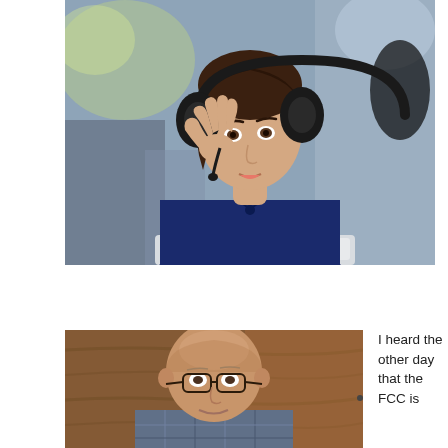[Figure (photo): Woman with dark hair wearing a navy blue sleeveless top and black headphones, holding her hand up near the headset and looking at a laptop screen, suggesting she is in a call or video conference. Background is blurred office environment with green and bokeh light spots.]
[Figure (photo): Middle-aged bald man with glasses wearing a plaid shirt, photographed indoors against a warm wooden background, looking toward the camera.]
I heard the other day that the FCC is